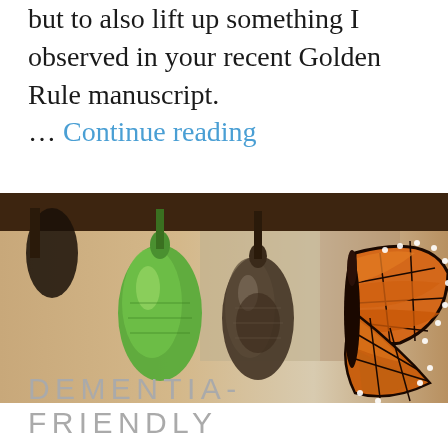but to also lift up something I observed in your recent Golden Rule manuscript. … Continue reading
[Figure (photo): Three stages of butterfly metamorphosis — a green chrysalis, a dark mature chrysalis, and an emerged monarch butterfly with orange and black wings — hanging from a wooden rod against a blurred warm-toned background.]
DEMENTIA-FRIENDLY